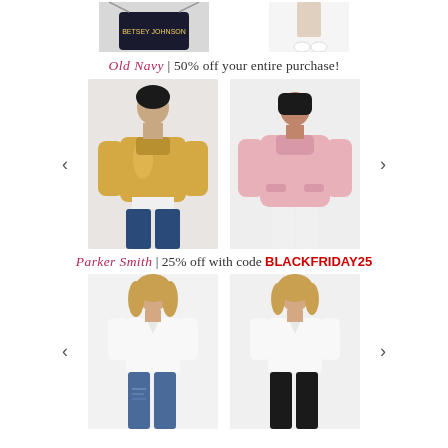[Figure (photo): Top portion of page showing partial product images (bag and person in white sneakers) from previous section]
Old Navy | 50% off your entire purchase!
[Figure (photo): Woman wearing a metallic gold/rose puffer jacket with jeans]
[Figure (photo): Woman wearing a pink puffer jacket over plaid shirt]
Parker Smith | 25% off with code BLACKFRIDAY25
[Figure (photo): Woman in white t-shirt and blue distressed jeans]
[Figure (photo): Woman in white t-shirt and black pants/jeans]